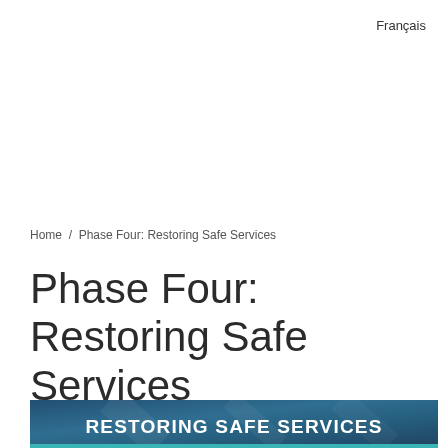Français
Home / Phase Four: Restoring Safe Services
Phase Four: Restoring Safe Services
[Figure (illustration): Dark blue banner with text 'RESTORING SAFE SERVICES' in bold white capital letters, with a teal/cyan accent stripe at the bottom]